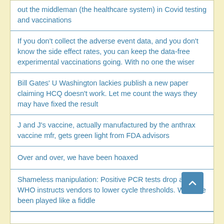out the middleman (the healthcare system) in Covid testing and vaccinations
If you don't collect the adverse event data, and you don't know the side effect rates, you can keep the data-free experimental vaccinations going. With no one the wiser
Bill Gates' U Washington lackies publish a new paper claiming HCQ doesn't work. Let me count the ways they may have fixed the result
J and J's vaccine, actually manufactured by the anthrax vaccine mfr, gets green light from FDA advisors
Over and over, we have been hoaxed
Shameless manipulation: Positive PCR tests drop after WHO instructs vendors to lower cycle thresholds. We have been played like a fiddle